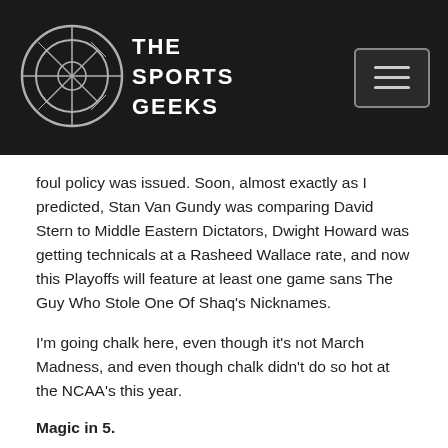[Figure (logo): The Sports Geeks logo — a circular emblem with crosshatch/basketball design next to text reading THE SPORTS GEEKS in white on dark background]
foul policy was issued. Soon, almost exactly as I predicted, Stan Van Gundy was comparing David Stern to Middle Eastern Dictators, Dwight Howard was getting technicals at a Rasheed Wallace rate, and now this Playoffs will feature at least one game sans The Guy Who Stole One Of Shaq's Nicknames.
I'm going chalk here, even though it's not March Madness, and even though chalk didn't do so hot at the NCAA's this year.
Magic in 5.
5 Nuggets @ 4 Thunder
The Nuggets have been blazing after unloading their superstar for Knicks castoffs. Many have attempted